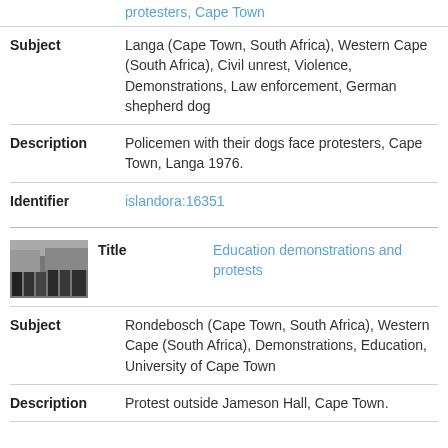protesters, Cape Town
Subject: Langa (Cape Town, South Africa), Western Cape (South Africa), Civil unrest, Violence, Demonstrations, Law enforcement, German shepherd dog
Description: Policemen with their dogs face protesters, Cape Town, Langa 1976.
Identifier: islandora:16351
[Figure (photo): Thumbnail photo of protesters holding signs]
Title: Education demonstrations and protests
Subject: Rondebosch (Cape Town, South Africa), Western Cape (South Africa), Demonstrations, Education, University of Cape Town
Description: Protest outside Jameson Hall, Cape Town.